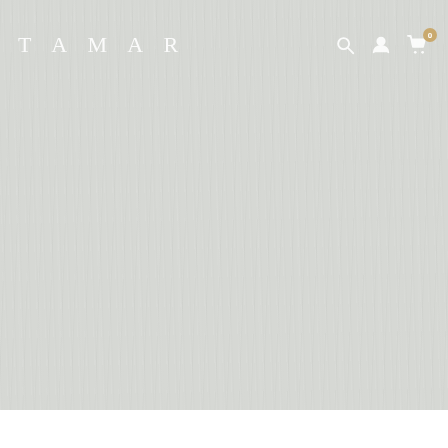[Figure (screenshot): Website header/navigation bar for TAMAR brand over a light grey wood-grain textured background. Shows the TAMAR logo in white spaced letters on the left, and navigation icons (search, user account, shopping cart with badge showing 0) on the right in white.]